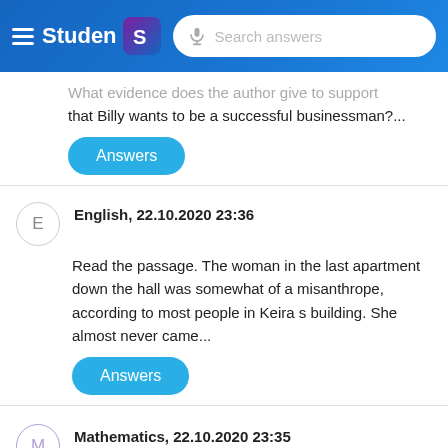Studen — Search answers
that Billy wants to be a successful businessman?...
Answers
English, 22.10.2020 23:36
Read the passage. The woman in the last apartment down the hall was somewhat of a misanthrope, according to most people in Keira s building. She almost never came...
Answers
Mathematics, 22.10.2020 23:35
The graph of y=|x|y= | x | y, equals, vertical bar, x,